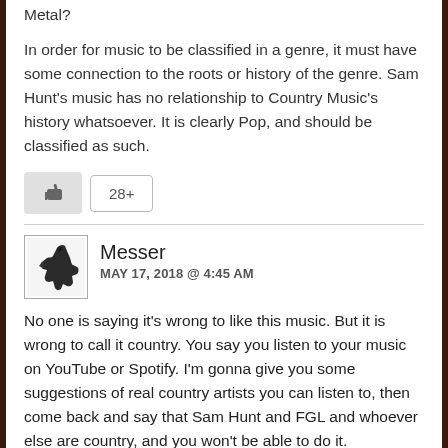Metal?
In order for music to be classified in a genre, it must have some connection to the roots or history of the genre. Sam Hunt's music has no relationship to Country Music's history whatsoever. It is clearly Pop, and should be classified as such.
[Figure (other): Like/upvote button with thumbs up icon and count badge showing '28+']
Messer
MAY 17, 2018 @ 4:45 AM
No one is saying it's wrong to like this music. But it is wrong to call it country. You say you listen to your music on YouTube or Spotify. I'm gonna give you some suggestions of real country artists you can listen to, then come back and say that Sam Hunt and FGL and whoever else are country, and you won't be able to do it.
1. Merle Haggard- Branded Man, Mama Tried, Misery and Gin, The Way I Am
2. Waylon Jennings- Waymores Blues, I recall a gunny woman, the door is always open